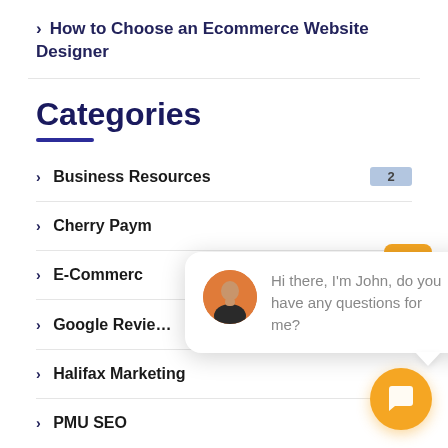> How to Choose an Ecommerce Website Designer
Categories
> Business Resources   2
> Cherry Paym...
> E-Commerc...
> Google Revie...   1
> Halifax Marketing
> PMU SEO
[Figure (screenshot): Chat widget popup with avatar of John saying 'Hi there, I'm John, do you have any questions for me?' and an orange chat button]